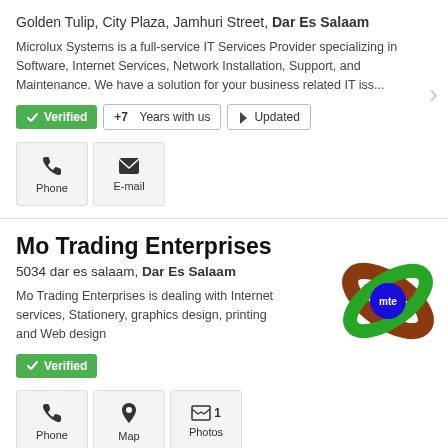Golden Tulip, City Plaza, Jamhuri Street, Dar Es Salaam
Microlux Systems is a full-service IT Services Provider specializing in Software, Internet Services, Network Installation, Support, and Maintenance. We have a solution for your business related IT iss...
Verified | +7 Years with us | Updated
Phone | E-mail
Mo Trading Enterprises
5034 dar es salaam, Dar Es Salaam
Mo Trading Enterprises is dealing with Internet services, Stationery, graphics design, printing and Web design
Verified
Phone | Map | 1 Photos
[Figure (logo): Mo Trading Enterprises logo: overlapping ring shapes in green and brown/orange with blue center and 'mte' text]